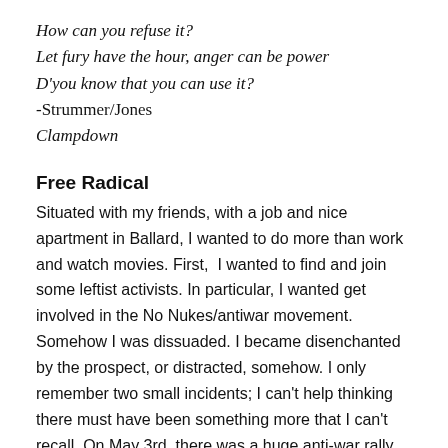How can you refuse it?
Let fury have the hour, anger can be power
D'you know that you can use it?
-Strummer/Jones
Clampdown
Free Radical
Situated with my friends, with a job and nice apartment in Ballard, I wanted to do more than work and watch movies. First,  I wanted to find and join some leftist activists. In particular, I wanted get involved in the No Nukes/antiwar movement. Somehow I was dissuaded. I became disenchanted by the prospect, or distracted, somehow. I only remember two small incidents; I can't help thinking there must have been something more that I can't recall. On May 3rd, there was a huge anti-war rally, and all three